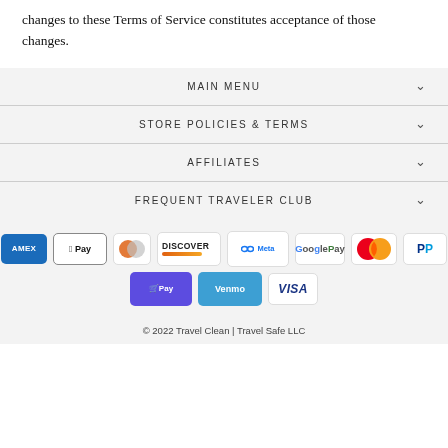changes to these Terms of Service constitutes acceptance of those changes.
MAIN MENU
STORE POLICIES & TERMS
AFFILIATES
FREQUENT TRAVELER CLUB
[Figure (other): Payment method icons: AMEX, Apple Pay, Diners Club, Discover, Meta Pay, Google Pay, Mastercard, PayPal, Shop Pay, Venmo, Visa]
© 2022 Travel Clean | Travel Safe LLC